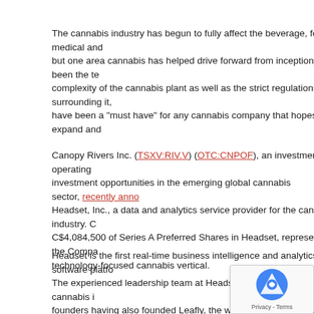The cannabis industry has begun to fully affect the beverage, food, medical and but one area cannabis has helped drive forward from inception has been the te complexity of the cannabis plant as well as the strict regulations surrounding it, have been a "must have" for any cannabis company that hopes to expand and
Canopy Rivers Inc. (TSXV:RIV.V) (OTC:CNPOF), an investment and operating investment opportunities in the emerging global cannabis sector, recently anno Headset, Inc., a data and analytics service provider for the cannabis industry. C C$4,084,500 of Series A Preferred Shares in Headset, representing the Compa technology-focused cannabis vertical.
Headset is the first real-time business intelligence and analytics software platfo The experienced leadership team at Headset have deep roots in the cannabis i founders having also founded Leafly, the world's largest cannabis information r provide access to up-to-the-minute information on sales trends, emerging secto pricing, Headset's proprietary software platform allows customers to use data t opportunity, understand the competition, and tailor product development.
Smaller technology companies like EnviroTechnologies International. Inc. (OTC markets green, natural and organic products for diverse industries new technology to licensed cannabis growers in the northwest tha pathogens and stimulate harvest yields.